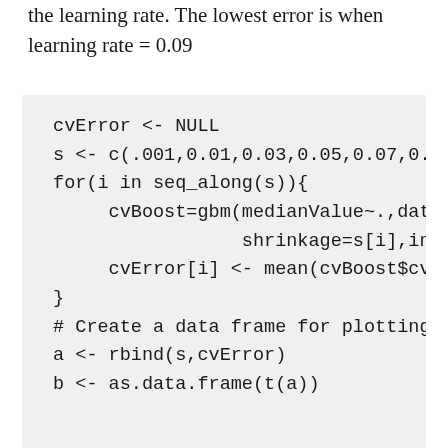the learning rate. The lowest error is when learning rate = 0.09
cvError <- NULL
s <- c(.001,0.01,0.03,0.05,0.07,0.09,0.1)
for(i in seq_along(s)){
    cvBoost=gbm(medianValue~.,data=trai:
                shrinkage=s[i],interaction.depth
    cvError[i] <- mean(cvBoost$cv.error)
}

# Create a data frame for plotting
a <- rbind(s,cvError)
b <- as.data.frame(t(a))